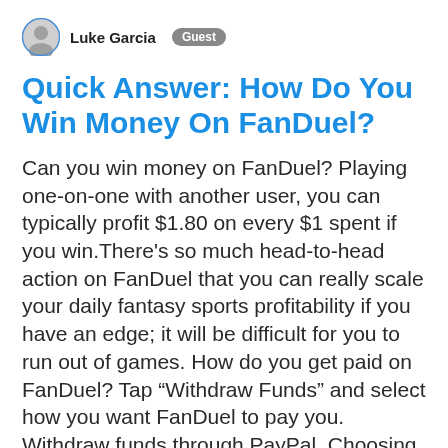Luke Garcia  Guest
Quick Answer: How Do You Win Money On FanDuel?
Can you win money on FanDuel? Playing one-on-one with another user, you can typically profit $1.80 on every $1 spent if you win.There's so much head-to-head action on FanDuel that you can really scale your daily fantasy sports profitability if you have an edge; it will be difficult for you to run out of games. How do you get paid on FanDuel? Tap “Withdraw Funds” and select how you want FanDuel to pay you. Withdraw funds through PayPal. Choosing PayPal will, by default, withdraw funds to the account you used to deposit money into your FanDuel account. How do you win on NFL FanDuel? 2:29 5:37 Suggested clip · 102 seconds FanDuel NFL Strategy - YouTube YouTube